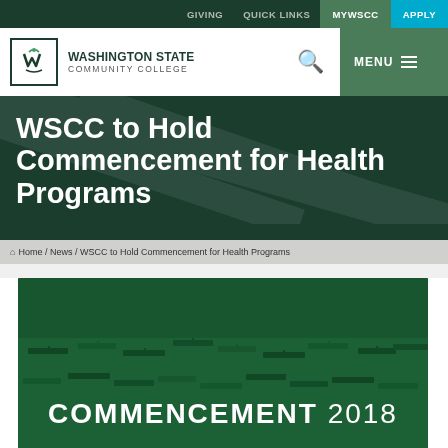GIVING  QUICK LINKS  MYWSCC  APPLY
[Figure (logo): Washington State Community College logo with stylized W mark in green border]
WSCC to Hold Commencement for Health Programs
Home / News / WSCC to Hold Commencement for Health Programs
[Figure (photo): Aerial view of graduates in green caps and gowns with text COMMENCEMENT 2018 overlaid]